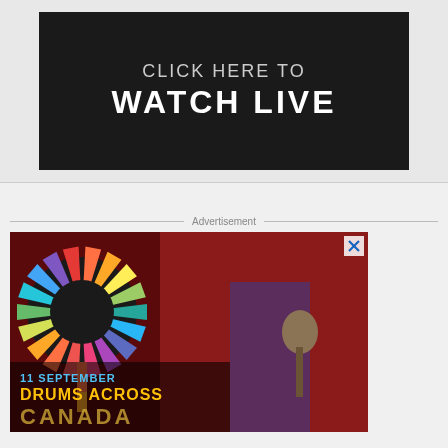[Figure (screenshot): Dark banner with text 'CLICK HERE TO WATCH LIVE' on black background]
Advertisement
[Figure (photo): Advertisement image for 'Drums Across Canada' event on 11 September, featuring a colorful wheel/mandala logo on the left and a person holding a drum mallet on a red background. Text reads '11 SEPTEMBER DRUMS ACROSS CANADA']